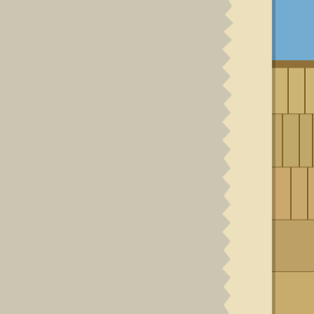[Figure (photo): Partial view of ancient stone architecture with large carved stone blocks, photographed against a blue sky — cropped on right edge of page]
...are various
[Figure (photo): Partial view of ancient ruins with arched stonework and columns, photographed against a blue sky — cropped on right edge of page]